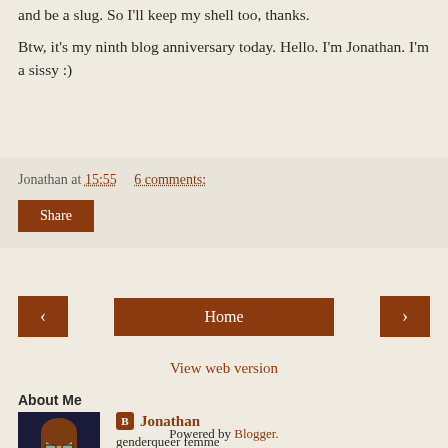and be a slug. So I'll keep my shell too, thanks.
Btw, it's my ninth blog anniversary today. Hello. I'm Jonathan. I'm a sissy :)
Jonathan at 15:55    6 comments:
Share
< Home >
View web version
About Me
[Figure (illustration): Avatar image of Velma from Scooby-Doo, a cartoon character with brown hair, glasses, and orange turtleneck sweater against a dark blue background]
Jonathan
genderqueer femme
View my complete profile
Powered by Blogger.